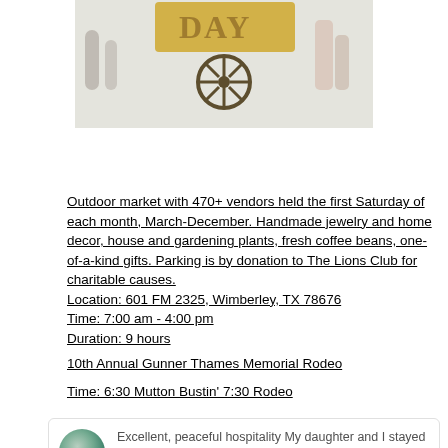[Figure (photo): Event market photo showing a wagon wheel logo and people, with text 'DAY' visible at top]
Outdoor market with 470+ vendors held the first Saturday of each month, March-December. Handmade jewelry and home decor, house and gardening plants, fresh coffee beans, one-of-a-kind gifts. Parking is by donation to The Lions Club for charitable causes. Location: 601 FM 2325, Wimberley, TX 78676 Time: 7:00 am - 4:00 pm Duration: 9 hours
10th Annual Gunner Thames Memorial Rodeo
Time: 6:30 Mutton Bustin' 7:30 Rodeo
Excellent, peaceful hospitality My daughter and I stayed at Bella Vida for a long Mother's Day weekend. Steve ...